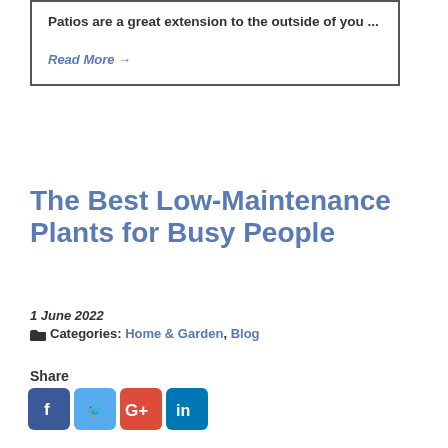Patios are a great extension to the outside of you ...
Read More →
The Best Low-Maintenance Plants for Busy People
1 June 2022
Categories: Home & Garden, Blog
Share
[Figure (infographic): Social media share icons: Facebook, Twitter, Google+, LinkedIn]